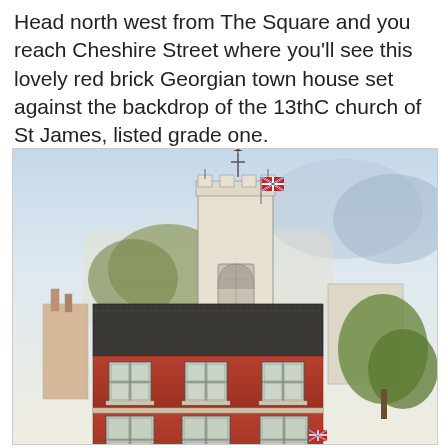Head north west from The Square and you reach Cheshire Street where you'll see this lovely red brick Georgian town house set against the backdrop of the 13thC church of St James, listed grade one.
[Figure (illustration): Watercolour illustration of a red brick Georgian town house on Cheshire Street, with a slate roof, sash windows, a blue shopfront at ground level, and the medieval tower of the 13th century church of St James rising behind it. Trees and other buildings visible on either side. A Union Jack flag flies from the church tower and from the front of the town house.]